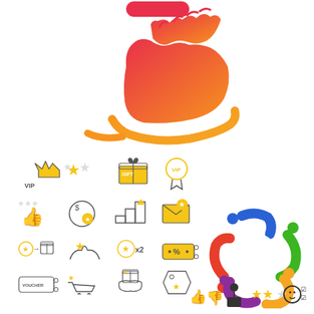[Figure (illustration): Hand open illustration with gradient colors from orange to red, with a small red rounded rectangle button at top]
[Figure (illustration): Grid of loyalty/reward program icons: VIP crown, stars, gift box, VIP badge, thumbs up with stars, coin with star, steps/stairs, envelope with star, star-to-gift exchange, hands holding star, star x2, percent discount coupon, voucher ticket, shopping cart with star, gift on hand, tag with star]
[Figure (illustration): Colorful circular group of stylized people figures in red, blue, green, yellow, purple colors forming a ring]
[Figure (illustration): Row of feedback/rating icons at bottom: thumbs up and down, person at podium, star rating, smiley face with checkmarks]